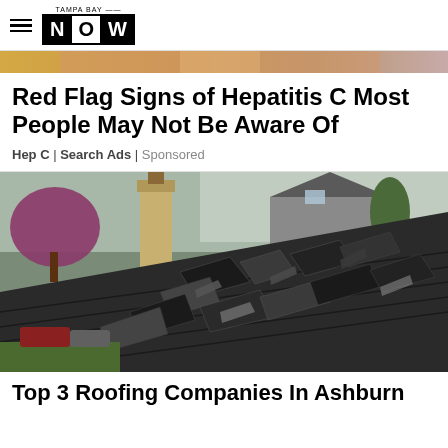TAMPA BAY NOW
[Figure (photo): Partial image strip at top of page showing a person's face/hair in warm tones]
Red Flag Signs of Hepatitis C Most People May Not Be Aware Of
Hep C | Search Ads | Sponsored
[Figure (photo): Damaged roof with broken and curling asphalt shingles, chimney visible on left, house and trees in background]
Top 3 Roofing Companies In Ashburn